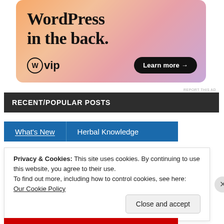[Figure (illustration): WordPress VIP advertisement banner with gradient orange-pink-purple background. Large bold text reads 'WordPress in the back.' with WordPress VIP logo and 'Learn more →' button.]
REPORT THIS AD
RECENT/POPULAR POSTS
What's New | Herbal Knowledge
Privacy & Cookies: This site uses cookies. By continuing to use this website, you agree to their use.
To find out more, including how to control cookies, see here:
Our Cookie Policy
Close and accept